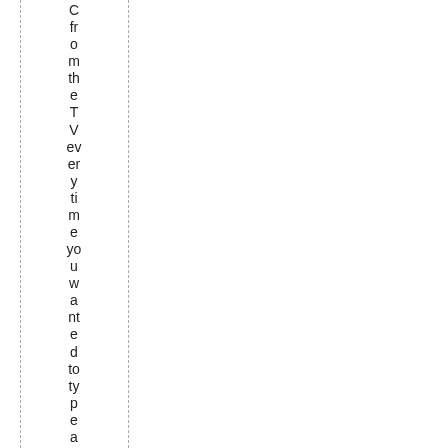C from the TV every time you wanted to type a different U